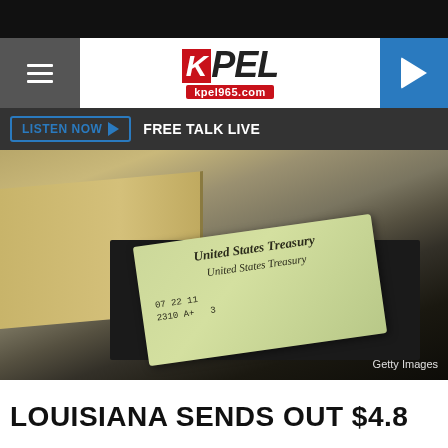[Figure (screenshot): KPEL 965 radio station website header with hamburger menu, KPEL logo, play button, Listen Now bar with FREE TALK LIVE, and a photo of United States Treasury checks in a filing tray with Getty Images credit]
LOUISIANA SENDS OUT $4.8